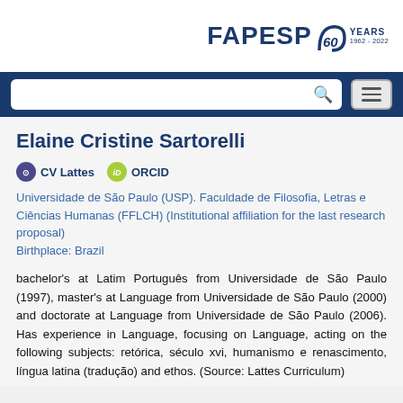[Figure (logo): FAPESP 60 YEARS 1962-2022 logo in top right corner]
[Figure (screenshot): Navigation bar with search box and hamburger menu on dark blue background]
Elaine Cristine Sartorelli
CV Lattes  ORCID
Universidade de São Paulo (USP). Faculdade de Filosofia, Letras e Ciências Humanas (FFLCH)  (Institutional affiliation for the last research proposal)
Birthplace: Brazil
bachelor's at Latim Português from Universidade de São Paulo (1997), master's at Language from Universidade de São Paulo (2000) and doctorate at Language from Universidade de São Paulo (2006). Has experience in Language, focusing on Language, acting on the following subjects: retórica, século xvi, humanismo e renascimento, língua latina (tradução) and ethos. (Source: Lattes Curriculum)